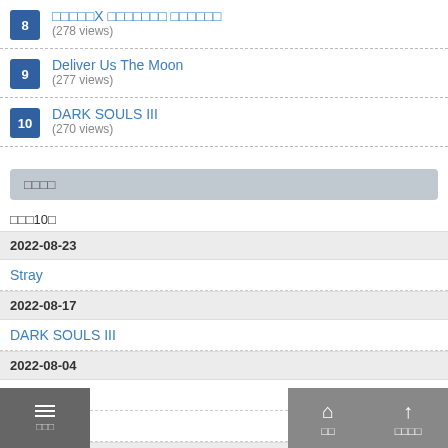8 □□□□□X □□□□□□□ □□□□□□ (278 views)
9 Deliver Us The Moon (277 views)
10 DARK SOULS III (270 views)
□□□□
□□□10□
2022-08-23
Stray
2022-08-17
DARK SOULS III
2022-08-04
Mahjong
□□□GOLF
2022-08-03
LocoRoco -Midnight Carnival-
□□